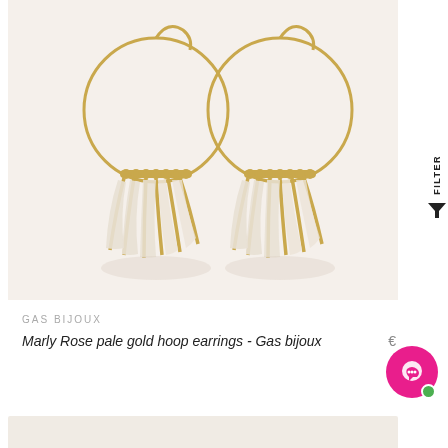[Figure (photo): Two gold hoop earrings with white/cream hanging elements (shell or acrylic pieces) arranged in a fan shape, photographed on a cream/beige background]
FILTER
GAS BIJOUX
Marly Rose pale gold hoop earrings - Gas bijoux
[Figure (screenshot): Pink chat/messenger button with green online indicator dot in the bottom right corner]